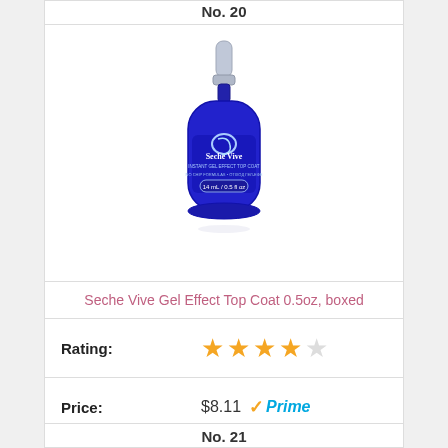No. 20
[Figure (photo): Blue Seche Vive Instant Gel Effect Top Coat nail polish bottle with silver pump cap, 14 mL / 0.5 fl oz]
Seche Vive Gel Effect Top Coat 0.5oz, boxed
Rating: ★★★★☆
Price: $8.11 ✓Prime
Buy on Amazon
No. 21